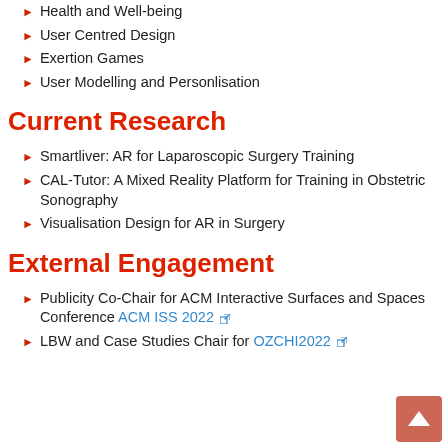Health and Well-being
User Centred Design
Exertion Games
User Modelling and Personlisation
Current Research
Smartliver: AR for Laparoscopic Surgery Training
CAL-Tutor: A Mixed Reality Platform for Training in Obstetric Sonography
Visualisation Design for AR in Surgery
External Engagement
Publicity Co-Chair for ACM Interactive Surfaces and Spaces Conference ACM ISS 2022
LBW and Case Studies Chair for OZCHI2022